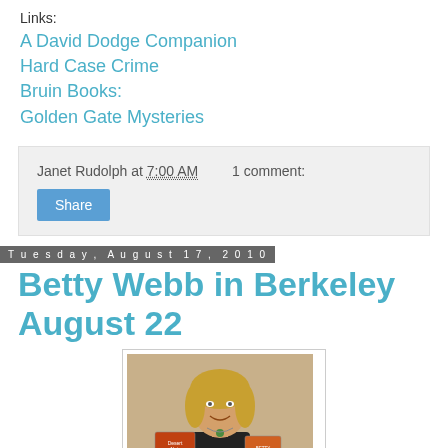Links:
A David Dodge Companion
Hard Case Crime
Bruin Books:
Golden Gate Mysteries
Janet Rudolph at 7:00 AM   1 comment:
Share
Tuesday, August 17, 2010
Betty Webb in Berkeley August 22
[Figure (photo): Woman with blonde hair smiling, holding two books including 'Desert Noir', wearing a green jacket and black top with a necklace]